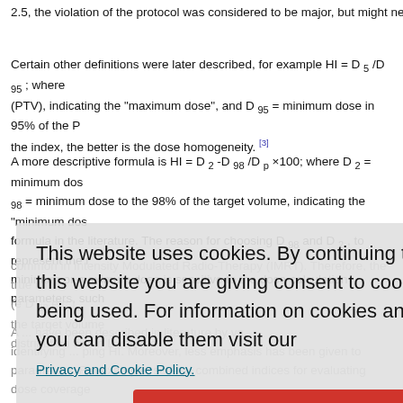2.5, the violation of the protocol was considered to be major, but might neverthele
Certain other definitions were later described, for example HI = D 5 /D 95 ; where (PTV), indicating the "maximum dose", and D 95 = minimum dose in 95% of the P the index, the better is the dose homogeneity. [3]
A more descriptive formula is HI = D 2 -D 98 /D p ×100; where D 2 = minimum dos 98 = minimum dose to the 98% of the target volume, indicating the "minimum dos formula in the literature. The reason for choosing D 98 and D 2 , to represent the r minimum or maximum dose is sensitive to the dose-calculation parameters, such
common in Intensity Modulated Radio-Therapy (IMRT). Therefore, the true minim ... D 98 etc.) ... the target volume distribution within ... ver, the ...
A ... have been described in literature by va ... identifying ... ping HI. Moreover, less emphasis has been given to ... parameters. For example, several combined indices for evaluating dose coverage in the past but, none of these incorporate dose homogeneity as their component. regarding the factors ... amount of such influences. A search t which will allow us to better analyze the spatial dose distribution in our treatment can improve upon our treatment plans in future.